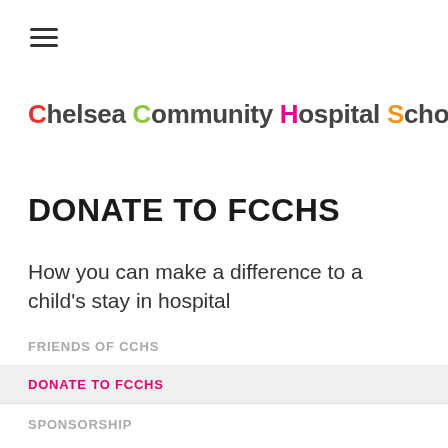[Figure (logo): Chelsea Community Hospital School logo with colored first letters and petal/leaf icon]
DONATE TO FCCHS
How you can make a difference to a child's stay in hospital
FRIENDS OF CCHS
DONATE TO FCCHS
SPONSORSHIP